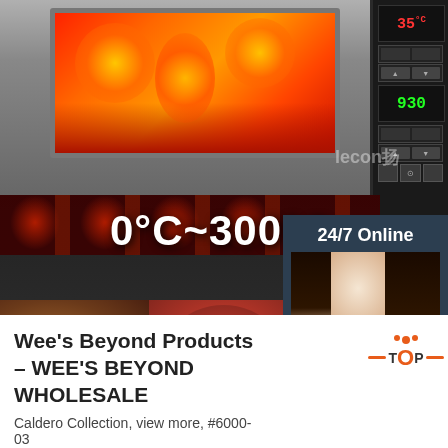[Figure (photo): Commercial oven with flames visible inside the oven window, showing temperature range 0°C~300°C, with food items (roasted chicken, pizza, bread) below, and a customer service sidebar with '24/7 Online', a woman with headset, 'Click here for free chat!' text, and an orange QUOTATION button. A control panel is visible at top right with digital displays showing 35°C and 930.]
Wee's Beyond Products – WEE'S BEYOND WHOLESALE
Caldero Collection, view more, #6000-03